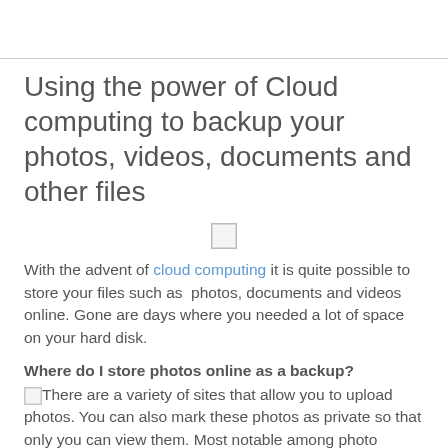Using the power of Cloud computing to backup your photos, videos, documents and other files
[Figure (other): Small placeholder image icon (empty/broken image box)]
With the advent of cloud computing it is quite possible to store your files such as  photos, documents and videos online. Gone are days where you needed a lot of space on your hard disk.
Where do I store photos online as a backup?
There are a variety of sites that allow you to upload photos. You can also mark these photos as private so that only you can view them. Most notable among photo sharing sites is Yahoo's Flickr and Google's Picasa.
Also there is Facebook, where you can upload your photos and mark the entire album as private so that only you can be